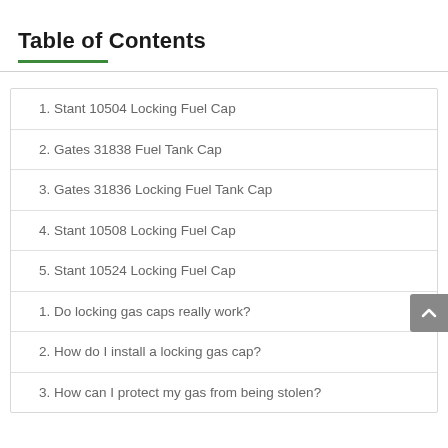Table of Contents
1. Stant 10504 Locking Fuel Cap
2. Gates 31838 Fuel Tank Cap
3. Gates 31836 Locking Fuel Tank Cap
4. Stant 10508 Locking Fuel Cap
5. Stant 10524 Locking Fuel Cap
1. Do locking gas caps really work?
2. How do I install a locking gas cap?
3. How can I protect my gas from being stolen?